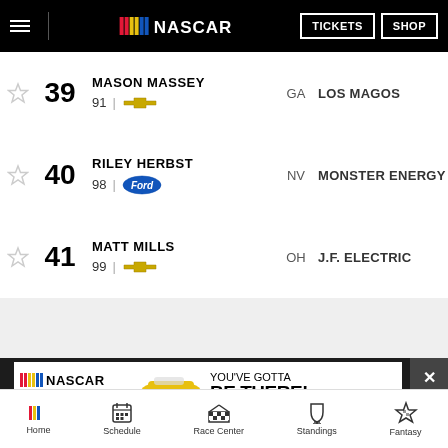NASCAR — TICKETS | SHOP
39 MASON MASSEY | 91 | GA | LOS MAGOS
40 RILEY HERBST | 98 | NV | MONSTER ENERGY
41 MATT MILLS | 99 | OH | J.F. ELECTRIC
[Figure (screenshot): NASCAR advertisement banner: NASCAR logo, BUY TICKETS! button, race car image, text YOU'VE GOTTA BE THERE!]
Home | Schedule | Race Center | Standings | Fantasy